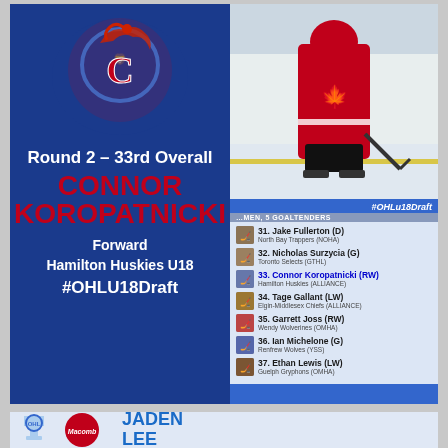[Figure (infographic): OHL U18 Draft card for Connor Koropatncki. Left blue panel with Colts mascot logo, 'Round 2 - 33rd Overall', player name in red, position/team info, hashtag. Right panel has player photo (red jersey) and draft list showing picks 31-37.]
Round 2 – 33rd Overall
CONNOR KOROPATNICKI
Forward
Hamilton Huskies U18
#OHLU18Draft
#OHLu18Draft
31. Jake Fullerton (D)
North Bay Trappers (NOHA)
32. Nicholas Surzycia (G)
Toronto Selects (GTHL)
33. Connor Koropatnicki (RW)
Hamilton Huskies (ALLIANCE)
34. Tage Gallant (LW)
Elgin-Middlesex Chiefs (ALLIANCE)
35. Garrett Joss (RW)
Wendy Wolverines (OMHA)
36. Ian Michelone (G)
Renfrew Wolves (YSS)
37. Ethan Lewis (LW)
Guelph Gryphons (OMHA)
[Figure (infographic): Bottom partial card showing OHL trophy logo, red jersey with OHL logo, and 'JADEN LEE' text in blue.]
JADEN LEE